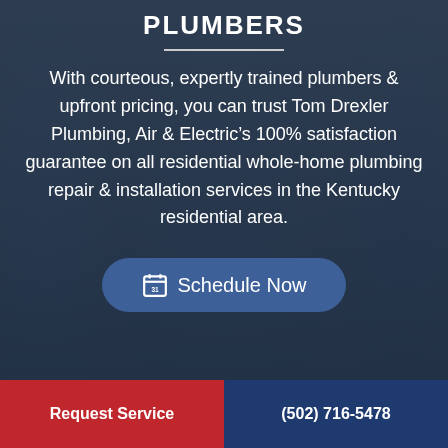[Figure (photo): Background photo of plumbers in blue uniforms with dark overlay]
PLUMBERS
With courteous, expertly trained plumbers & upfront pricing, you can trust Tom Drexler Plumbing, Air & Electric’s 100% satisfaction guarantee on all residential whole-home plumbing repair & installation services in the Kentucky residential area.
Schedule Now
Request Service   (502) 716-5478